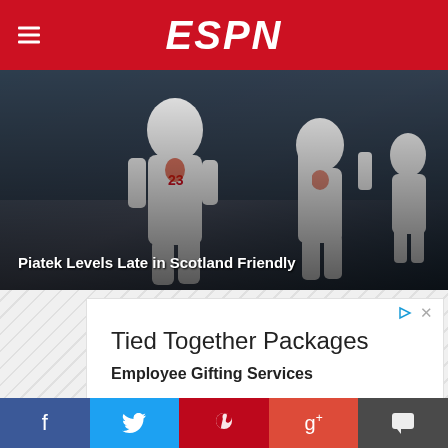ESPN
[Figure (photo): Soccer players in white Poland national team jerseys running on a pitch. Player number 23 is visible in the foreground. Background shows stadium crowd.]
Piatek Levels Late in Scotland Friendly
[Figure (infographic): Advertisement for Tied Together Packages - Employee Gifting Services. Title: Tied Together Packages. Subtitle: Employee Gifting Services. Body: We Are Virtual Visionaries Making Dreams a Reality. URL: tiedtogetherpackages.com. Button: OPEN]
f  Twitter  Pinterest  g+  Chat